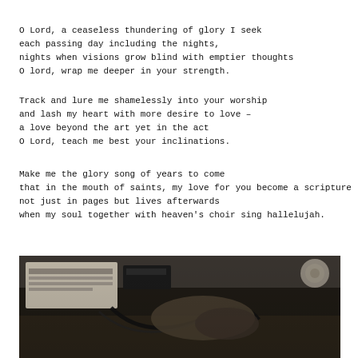O Lord, a ceaseless thundering of glory I seek
each passing day including the nights,
nights when visions grow blind with emptier thoughts
O lord, wrap me deeper in your strength.
Track and lure me shamelessly into your worship
and lash my heart with more desire to love –
a love beyond the art yet in the act
O Lord, teach me best your inclinations.
Make me the glory song of years to come
that in the mouth of saints, my love for you become a scripture
not just in pages but lives afterwards
when my soul together with heaven's choir sing hallelujah.
[Figure (photo): Black and white photograph showing a desk scene with what appears to be a person's hand holding or near a musical instrument or device, with cables visible and other objects on the desk in the background.]